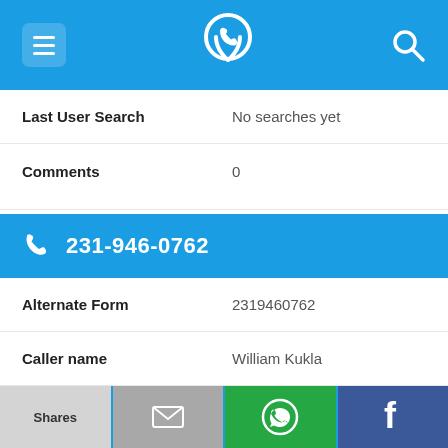[Figure (screenshot): Mobile app top navigation bar with menu icon, phone-locator logo icon, and search icon on blue background]
Last User Search	No searches yet
Comments	0
231-946-0762
Alternate Form	2319460762
Caller name	William Kukla
Last User Search	No searches yet
Comments	0
[Figure (screenshot): Bottom share toolbar with Shares label, email icon, WhatsApp icon, and Facebook icon]